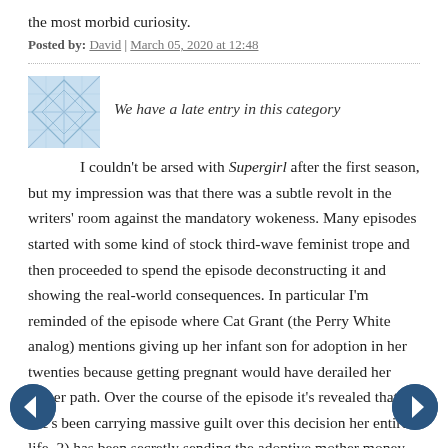the most morbid curiosity.
Posted by: David | March 05, 2020 at 12:48
[Figure (illustration): Blue geometric avatar/icon image used as commenter profile picture]
We have a late entry in this category
I couldn't be arsed with Supergirl after the first season, but my impression was that there was a subtle revolt in the writers' room against the mandatory wokeness. Many episodes started with some kind of stock third-wave feminist trope and then proceeded to spend the episode deconstructing it and showing the real-world consequences. In particular I'm reminded of the episode where Cat Grant (the Perry White analog) mentions giving up her infant son for adoption in her twenties because getting pregnant would have derailed her career path. Over the course of the episode it's revealed that 1) she's been carrying massive guilt over this decision her entire life, 2) has been secretly sending the adoptive mother money for